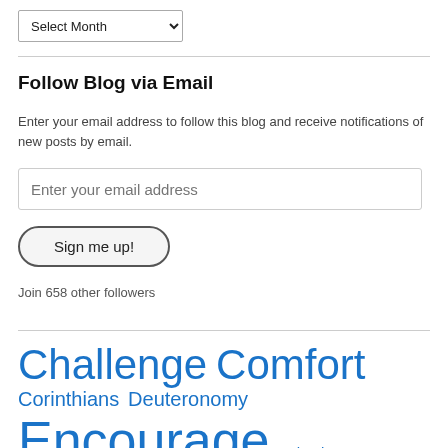[Figure (screenshot): Dropdown select widget labeled 'Select Month']
Follow Blog via Email
Enter your email address to follow this blog and receive notifications of new posts by email.
Enter your email address (input field)
Sign me up! (button)
Join 658 other followers
Challenge  Comfort  Corinthians  Deuteronomy  Encourage  Ephesians  Hebrews  Inspiration